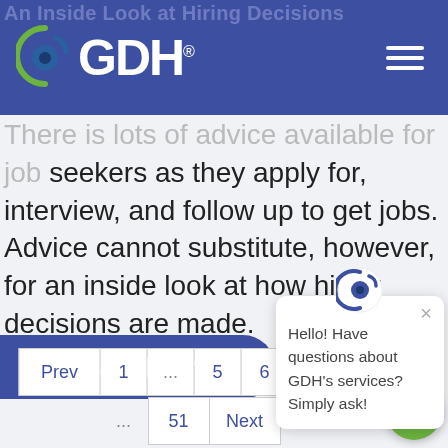GDH
An Inside Look at Hiring Decisions
There is lots of advice available for job seekers as they apply for, interview, and follow up to get jobs. Advice cannot substitute, however, for an inside look at how hiring decisions are made.
Read More
Hello! Have questions about GDH's services? Simply ask!
Prev 1 … 5 6 7 8 9 … 51 Next